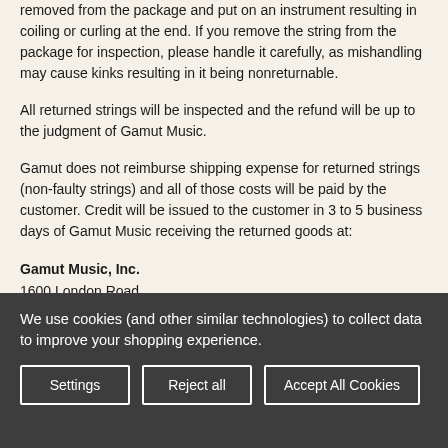removed from the package and put on an instrument resulting in coiling or curling at the end. If you remove the string from the package for inspection, please handle it carefully, as mishandling may cause kinks resulting in it being nonreturnable.
All returned strings will be inspected and the refund will be up to the judgment of Gamut Music.
Gamut does not reimburse shipping expense for returned strings (non-faulty strings) and all of those costs will be paid by the customer. Credit will be issued to the customer in 3 to 5 business days of Gamut Music receiving the returned goods at:
Gamut Music, Inc.
1600 London Road
Duluth, MN 55812
We use cookies (and other similar technologies) to collect data to improve your shopping experience.